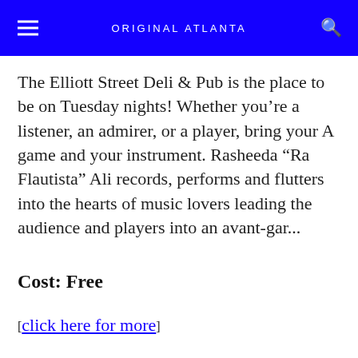ORIGINAL ATLANTA
The Elliott Street Deli & Pub is the place to be on Tuesday nights! Whether you're a listener, an admirer, or a player, bring your A game and your instrument. Rasheeda "Ra Flautista" Ali records, performs and flutters into the hearts of music lovers leading the audience and players into an avant-gar...
Cost: Free
[click here for more]